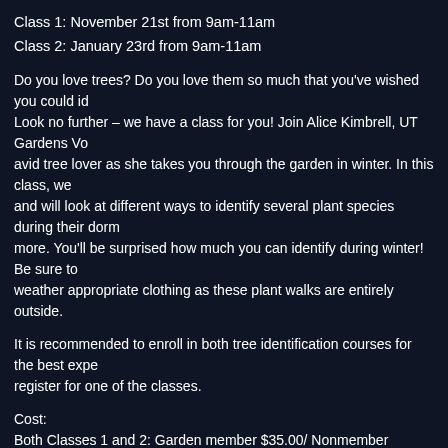Class 1: November 21st from 9am-11am
Class 2: January 23rd from 9am-11am
Do you love trees? Do you love them so much that you've wished you could id... Look no further – we have a class for you! Join Alice Kimbrell, UT Gardens Vo... avid tree lover as she takes you through the garden in winter. In this class, we... and will look at different ways to identify several plant species during their dorm... more. You'll be surprised how much you can identify during winter! Be sure to... weather appropriate clothing as these plant walks are entirely outside.
It is recommended to enroll in both tree identification courses for the best expe... register for one of the classes.
Cost:
Both Classes 1 and 2: Garden member $35.00/ Nonmember $45.00
Only Class 1 on November 21st: Garden member $20.00/ Nonmember $25.00
Only Class 2 on January 23rd: Garden member $20.00/ Nonmember $25.00
*Classes are scheduled to be in person. All attendees will be expected to follo... guidelines which include wearing face mask and completing a UTK screening... (click here for a copy of the form). Classes may move virtually due to COVID-1... going virtual, participants will be given a garden kit with garden materials to co...